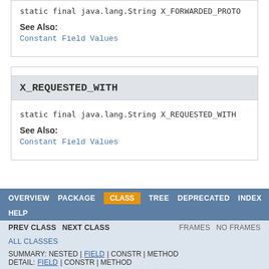static final java.lang.String X_FORWARDED_PROTO
See Also:
Constant Field Values
X_REQUESTED_WITH
static final java.lang.String X_REQUESTED_WITH
See Also:
Constant Field Values
OVERVIEW  PACKAGE  CLASS  TREE  DEPRECATED  INDEX  HELP  PREV CLASS  NEXT CLASS  FRAMES  NO FRAMES  ALL CLASSES  SUMMARY: NESTED | FIELD | CONSTR | METHOD  DETAIL: FIELD | CONSTR | METHOD